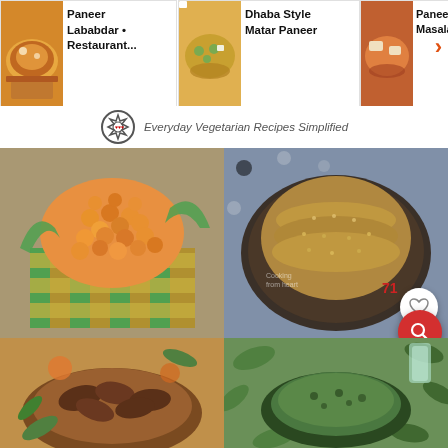[Figure (screenshot): Top carousel bar showing three food recipe thumbnails: 'Paneer Lababdar • Restaurant...', 'Dhaba Style Matar Paneer', 'Paneer Bu Masala' with a right arrow navigation button]
[Figure (logo): Website logo with gear/circle badge and tagline 'Everyday Vegetarian Recipes Simplified']
[Figure (photo): Fried chickpeas/boondi piled in a woven green and yellow basket, top-left grid cell]
[Figure (photo): Crispy lentil/dal crackers (mathri) stacked in a dark metal plate, top-right grid cell, with a heart/favorite button and count badge '71' and a red search button]
[Figure (photo): Roasted/fried vegetable dish in a bowl, bottom-left grid cell (partially visible)]
[Figure (photo): Green chutney or curry with moringa/drumstick leaves, bottom-right grid cell (partially visible)]